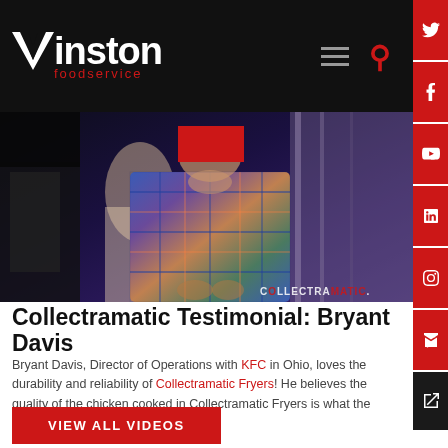Winston foodservice
[Figure (photo): Video thumbnail showing a man in a plaid shirt in a commercial kitchen, with COLLECTRAMATIC watermark in bottom right corner and a red censored block over the face]
Collectramatic Testimonial: Bryant Davis
Bryant Davis, Director of Operations with KFC in Ohio, loves the durability and reliability of Collectramatic Fryers! He believes the quality of the chicken cooked in Collectramatic Fryers is what the Colonel would serve!
VIEW ALL VIDEOS